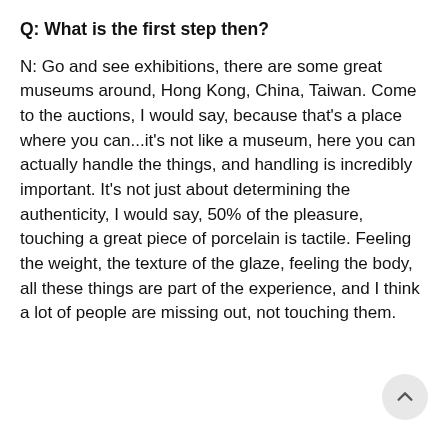Q: What is the first step then?
N: Go and see exhibitions, there are some great museums around, Hong Kong, China, Taiwan. Come to the auctions, I would say, because that's a place where you can...it's not like a museum, here you can actually handle the things, and handling is incredibly important. It's not just about determining the authenticity, I would say, 50% of the pleasure, touching a great piece of porcelain is tactile. Feeling the weight, the texture of the glaze, feeling the body, all these things are part of the experience, and I think a lot of people are missing out, not touching them.